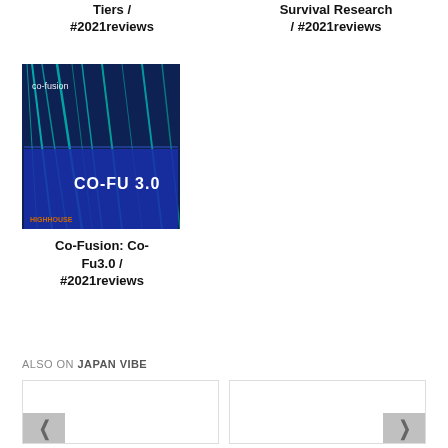Tiers / #2021reviews
Survival Research / #2021reviews
[Figure (photo): Album cover for Co-Fusion Co-Fu 3.0, showing abstract blue and teal digital imagery with text 'co-fusion' and 'CO-FU 3.0' and 'HIGH HOUSE' label]
Co-Fusion: Co-Fu3.0 / #2021reviews
ALSO ON JAPAN VIBE
[Figure (other): Bottom card left with left chevron arrow]
[Figure (other): Bottom card right with right chevron arrow]